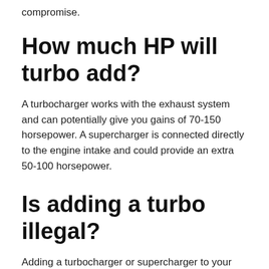compromise.
How much HP will turbo add?
A turbocharger works with the exhaust system and can potentially give you gains of 70-150 horsepower. A supercharger is connected directly to the engine intake and could provide an extra 50-100 horsepower.
Is adding a turbo illegal?
Adding a turbocharger or supercharger to your car is another popular performance modification. … 1 in illegal mods), however, turbochargers and superchargers are legal as long as they don't cause your car to fail